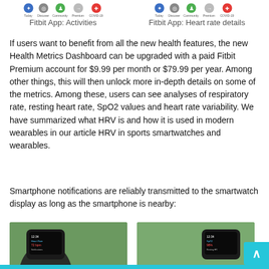[Figure (screenshot): Fitbit App navigation bar icons showing Today, Discover, Community, Premium, COVID-19 tabs]
Fitbit App: Activities
[Figure (screenshot): Fitbit App navigation bar icons showing Today, Discover, Community, Premium, COVID-19 tabs]
Fitbit App: Heart rate details
If users want to benefit from all the new health features, the new Health Metrics Dashboard can be upgraded with a paid Fitbit Premium account for $9.99 per month or $79.99 per year. Among other things, this will then unlock more in-depth details on some of the metrics. Among these, users can see analyses of respiratory rate, resting heart rate, SpO2 values and heart rate variability. We have summarized what HRV is and how it is used in modern wearables in our article HRV in sports smartwatches and wearables.
Smartphone notifications are reliably transmitted to the smartwatch display as long as the smartphone is nearby:
[Figure (photo): Photo of a smartwatch against a green plant background showing the watch display]
[Figure (photo): Photo of a smartwatch against a green plant background showing the watch display]